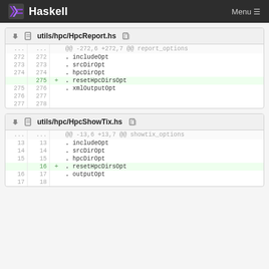Haskell  Menu
utils/hpc/HpcReport.hs
| old | new |  | code |
| --- | --- | --- | --- |
| ... | ... |  | @@ -272,6 +272,7 @@ report_options |
| 272 | 272 |  |           . includeOpt |
| 273 | 273 |  |           . srcDirOpt |
| 274 | 274 |  |           . hpcDirOpt |
|  | 275 | + |           . resetHpcDirsOpt |
| 275 | 276 |  |           . xmlOutputOpt |
| 276 | 277 |  |  |
| 277 | 278 |  |  |
utils/hpc/HpcShowTix.hs
| old | new |  | code |
| --- | --- | --- | --- |
| ... | ... |  | @@ -13,6 +13,7 @@ showtix_options |
| 13 | 13 |  |           . includeOpt |
| 14 | 14 |  |           . srcDirOpt |
| 15 | 15 |  |           . hpcDirOpt |
|  | 16 | + |           . resetHpcDirsOpt |
| 16 | 17 |  |           . outputOpt |
| 17 | 18 |  |  |